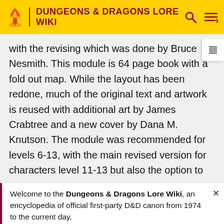DUNGEONS & DRAGONS LORE WIKI
with the revising which was done by Bruce Nesmith. This module is 64 page book with a fold out map. While the layout has been redone, much of the original text and artwork is reused with additional art by James Crabtree and a new cover by Dana M. Knutson. The module was recommended for levels 6-13, with the main revised version for characters level 11-13 but also the option to
Welcome to the Dungeons & Dragons Lore Wiki, an encyclopedia of official first-party D&D canon from 1974 to the current day.
We need editors! See the editing guidelines for ways to
Silver Anniversary editions
File:Ra
Ravenloft Silver Anniversary edition covers